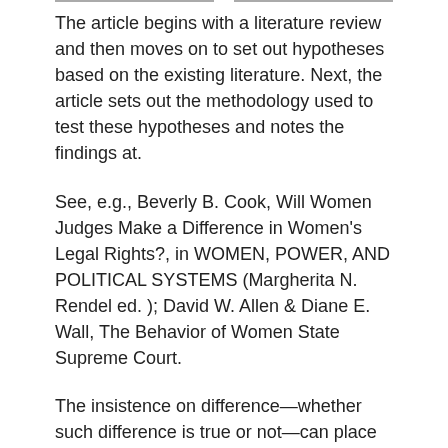The article begins with a literature review and then moves on to set out hypotheses based on the existing literature. Next, the article sets out the methodology used to test these hypotheses and notes the findings at.
See, e.g., Beverly B. Cook, Will Women Judges Make a Difference in Women's Legal Rights?, in WOMEN, POWER, AND POLITICAL SYSTEMS (Margherita N. Rendel ed. ); David W. Allen & Diane E. Wall, The Behavior of Women State Supreme Court.
The insistence on difference—whether such difference is true or not—can place undue pressure on women to make a difference (Malleson ), though, as Hunter points out, the expectation to make a difference should lie with feminist judges.
Even if there appears to be some gender effect on decisional outcomes in some gender-related cases, a.